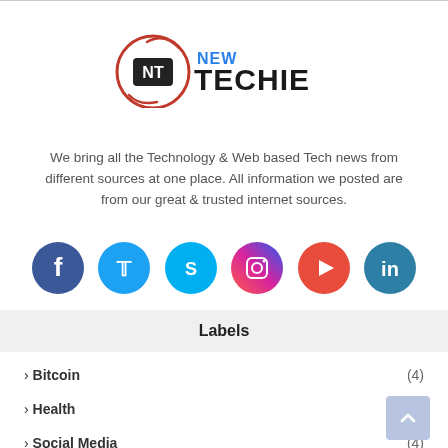[Figure (logo): New Techie logo with NT circle emblem and text 'NEW TECHIE']
We bring all the Technology & Web based Tech news from different sources at one place. All information we posted are from our great & trusted internet sources.
[Figure (infographic): Social media icons: Facebook, Twitter, Skype, Instagram, YouTube, LinkedIn]
Labels
› Bitcoin (4)
› Health (1)
› Social Media (4)
› Tips (5)